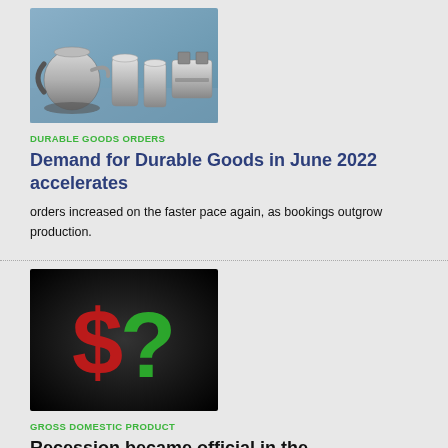[Figure (photo): Photo of stainless steel kitchen appliances including a kettle, cylindrical containers, and a toaster on a surface]
DURABLE GOODS ORDERS
Demand for Durable Goods in June 2022 accelerates
orders increased on the faster pace again, as bookings outgrow production.
[Figure (photo): Dark background image with a red dollar sign symbol and a green question mark, representing economic uncertainty]
GROSS DOMESTIC PRODUCT
Recession became official in the